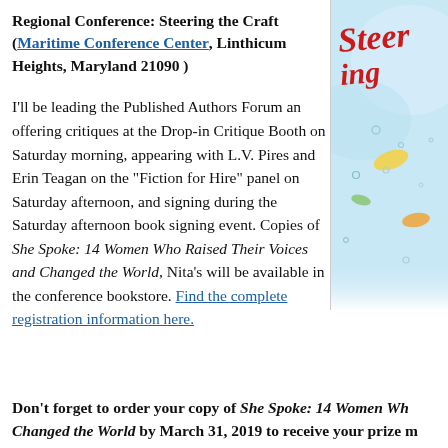Regional Conference: Steering the Craft (Maritime Conference Center, Linthicum Heights, Maryland 21090 )
[Figure (illustration): Book cover for 'Steering the Craft' conference, showing the title in red stylized text over a blue watercolor background with fish and bubbles]
I'll be leading the Published Authors Forum an offering critiques at the Drop-in Critique Booth on Saturday morning, appearing with L.V. Pires and Erin Teagan on the "Fiction for Hire" panel on Saturday afternoon, and signing during the Saturday afternoon book signing event. Copies of She Spoke: 14 Women Who Raised Their Voices and Changed the World, Nita's will be available in the conference bookstore. Find the complete registration information here.
Don't forget to order your copy of She Spoke: 14 Women Who Changed the World by March 31, 2019 to receive your prize m...